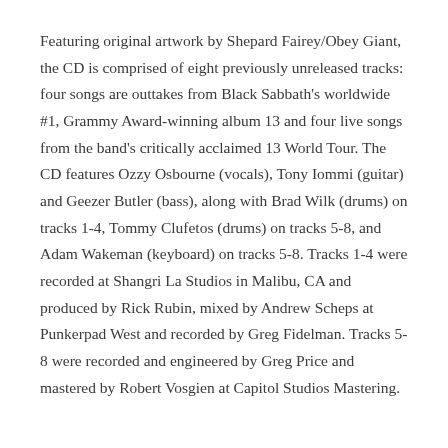Featuring original artwork by Shepard Fairey/Obey Giant, the CD is comprised of eight previously unreleased tracks: four songs are outtakes from Black Sabbath's worldwide #1, Grammy Award-winning album 13 and four live songs from the band's critically acclaimed 13 World Tour. The CD features Ozzy Osbourne (vocals), Tony Iommi (guitar) and Geezer Butler (bass), along with Brad Wilk (drums) on tracks 1-4, Tommy Clufetos (drums) on tracks 5-8, and Adam Wakeman (keyboard) on tracks 5-8. Tracks 1-4 were recorded at Shangri La Studios in Malibu, CA and produced by Rick Rubin, mixed by Andrew Scheps at Punkerpad West and recorded by Greg Fidelman. Tracks 5-8 were recorded and engineered by Greg Price and mastered by Robert Vosgien at Capitol Studios Mastering.